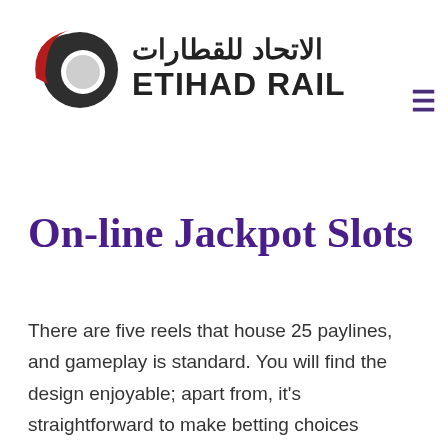[Figure (logo): Etihad Rail logo with Arabic text الاتحاد للقطارات and English text ETIHAD RAIL, accompanied by a stylized circular rail graphic in dark grey and red]
On-line Jackpot Slots
There are five reels that house 25 paylines, and gameplay is standard. You will find the design enjoyable; apart from, it's straightforward to make betting choices utilizing supplied menu choices. Symbols – Slot video games in 2021 tend